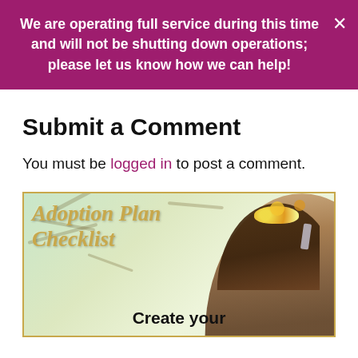We are operating full service during this time and will not be shutting down operations; please let us know how we can help!
Submit a Comment
You must be logged in to post a comment.
[Figure (illustration): Adoption Plan Checklist promotional image showing a woman with a floral crown from behind, with gold script text reading 'Adoption Plan Checklist' and bold text 'Create your' at the bottom]